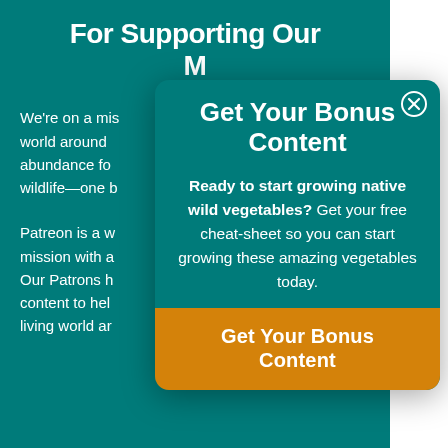For Supporting Our M
We're on a mis world around abundance fo wildlife—one b
Patreon is a w mission with a Our Patrons h content to hel living world ar
Get Your Bonus Content
Ready to start growing native wild vegetables? Get your free cheat-sheet so you can start growing these amazing vegetables today.
Get Your Bonus Content